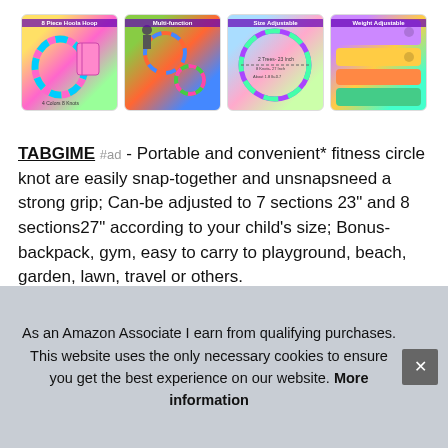[Figure (photo): Row of four product images showing hula hoops: 8-piece hoop set with colorful sections and backpack, people using hoops outdoors, size-adjustable hoop diagram, and weight-adjustable hoop pieces]
TABGIME #ad - Portable and convenient* fitness circle knot are easily snap-together and unsnapsneed a strong grip; Can-be adjusted to 7 sections 23" and 8 sections27" according to your child's size; Bonus-backpack, gym, easy to carry to playground, beach, garden, lawn, travel or others.
Versatile* exercise rings not only as a kid toys for developing kids coo train ring
As an Amazon Associate I earn from qualifying purchases. This website uses the only necessary cookies to ensure you get the best experience on our website. More information